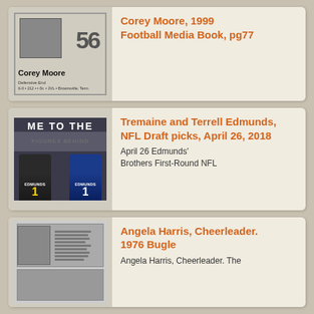[Figure (photo): Football trading card for Corey Moore, number 56, Defensive End, 6-0, 212, r-Sr., 2VL, Brownsville, Tenn.]
Corey Moore, 1999 Football Media Book, pg77
[Figure (photo): Photo of Tremaine and Terrell Edmunds holding NFL jerseys (Pittsburgh Steelers #1 and Buffalo Bills #1) at NFL Draft, April 26, 2018]
Tremaine and Terrell Edmunds, NFL Draft picks, April 26, 2018
April 26 Edmunds' Brothers First-Round NFL
[Figure (photo): Newspaper clipping photo of Angela Harris, Cheerleader, from 1976 Bugle]
Angela Harris, Cheerleader. 1976 Bugle
Angela Harris, Cheerleader. The